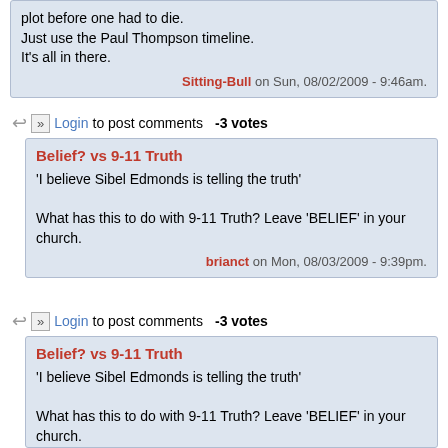plot before one had to die.
Just use the Paul Thompson timeline.
It's all in there.
Sitting-Bull on Sun, 08/02/2009 - 9:46am.
Login to post comments   -3 votes
Belief? vs 9-11 Truth
'I believe Sibel Edmonds is telling the truth'

What has this to do with 9-11 Truth? Leave 'BELIEF' in your church.
brianct on Mon, 08/03/2009 - 9:39pm.
Login to post comments   -3 votes
Belief? vs 9-11 Truth
'I believe Sibel Edmonds is telling the truth'

What has this to do with 9-11 Truth? Leave 'BELIEF' in your church.
brianct on Mon, 08/03/2009 - 9:41pm.
Login to post comments   -3 votes
Belief? vs 9-11 Truth